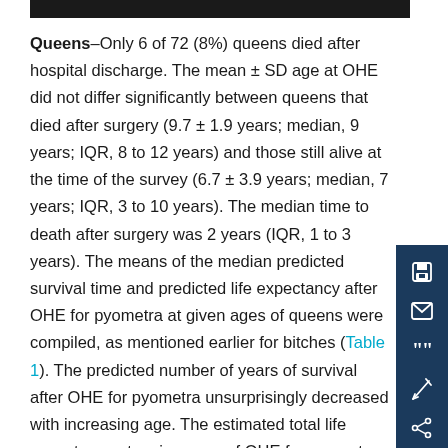Queens–Only 6 of 72 (8%) queens died after hospital discharge. The mean ± SD age at OHE did not differ significantly between queens that died after surgery (9.7 ± 1.9 years; median, 9 years; IQR, 8 to 12 years) and those still alive at the time of the survey (6.7 ± 3.9 years; median, 7 years; IQR, 3 to 10 years). The median time to death after surgery was 2 years (IQR, 1 to 3 years). The means of the median predicted survival time and predicted life expectancy after OHE for pyometra at given ages of queens were compiled, as mentioned earlier for bitches (Table 1). The predicted number of years of survival after OHE for pyometra unsurprisingly decreased with increasing age. The estimated total life expectancy at a given age of OHE for pyometra